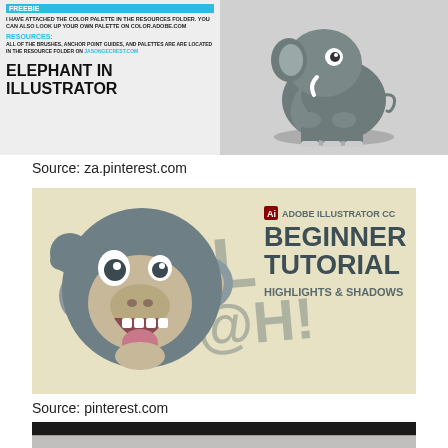[Figure (illustration): Tutorial thumbnail showing elephant illustration in Adobe Illustrator with text overlay. Left panel has tutorial text including ELEPHANT IN ILLUSTRATOR heading and RESOURCES section. Right panel shows a cartoon gray elephant character sitting.]
Source: za.pinterest.com
[Figure (illustration): Adobe Illustrator CC Beginner Tutorial thumbnail showing a cartoon monkey head with open mouth and the text BLAH!, ADOBE ILLUSTRATOR CC BEGINNER TUTORIAL HIGHLIGHTS & SHADOWS on a cream/beige background.]
Source: pinterest.com
[Figure (screenshot): Partially visible screenshot of Adobe Illustrator application interface with dark background at top and toolbar visible at the bottom edge.]